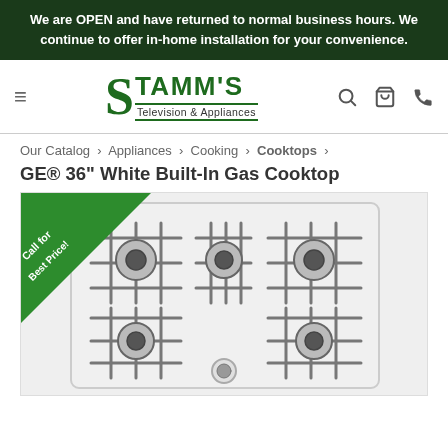We are OPEN and have returned to normal business hours. We continue to offer in-home installation for your convenience.
[Figure (logo): Stamm's Television & Appliances logo with large green S and text]
Our Catalog › Appliances › Cooking › Cooktops ›
GE® 36" White Built-In Gas Cooktop
[Figure (photo): GE 36 inch white built-in gas cooktop with 5 burners and cast iron grates, with green 'Call for Best Price!' corner badge]